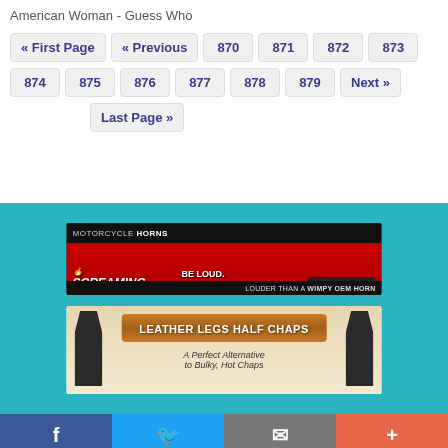American Woman - Guess Who
« First Page | « Previous | 870 | 871 | 872 | 873 | 874 | 875 | 876 | 877 | 878 | 879 | Next » | Last Page »
[Figure (photo): Motorcycle Horns - Screaming Banshee advertisement banner. Red and black design with motorcycle image. Text: BE LOUD. BE COOL. BE BANSHEE. LOUDER THAN A WIMPY OEM HORN]
[Figure (photo): Leather Legs Half Chaps advertisement. Shows leather boots/chaps on both sides. Text: LEATHER LEGS HALF CHAPS - A Perfect Alternative to Bulky, Hot Chaps]